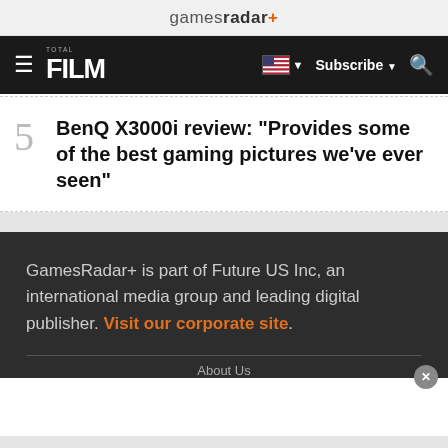gamesradar+
[Figure (screenshot): Total Film navigation bar with hamburger menu, TOTAL FILM logo, US flag with dropdown, Subscribe button, and search icon on dark background]
5 BenQ X3000i review: "Provides some of the best gaming pictures we've ever seen"
GamesRadar+ is part of Future US Inc, an international media group and leading digital publisher. Visit our corporate site.
About Us